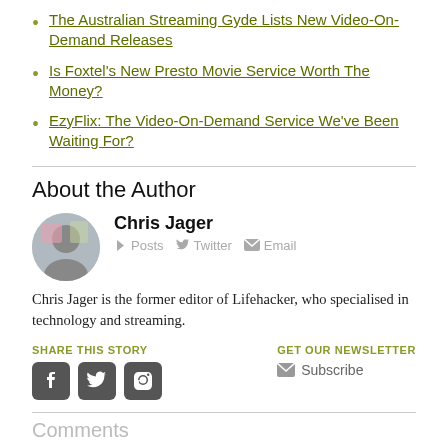The Australian Streaming Gyde Lists New Video-On-Demand Releases
Is Foxtel's New Presto Movie Service Worth The Money?
EzyFlix: The Video-On-Demand Service We've Been Waiting For?
About the Author
Chris Jager
Posts  Twitter  Email
Chris Jager is the former editor of Lifehacker, who specialised in technology and streaming.
SHARE THIS STORY
GET OUR NEWSLETTER
Subscribe
Comments